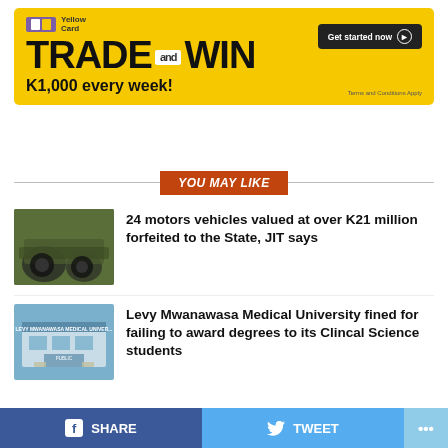[Figure (infographic): Yellow Card TRADE and WIN advertisement banner. Yellow background with bold black text 'TRADE and WIN' and 'K1,000 every week!'. Get started now button top right. Terms and Conditions Apply text below button.]
YOU MAY LIKE
[Figure (photo): Thumbnail photo of military vehicles/trucks, dark green tones]
24 motors vehicles valued at over K21 million forfeited to the State, JIT says
[Figure (photo): Thumbnail photo of Levy Mwanawasa Medical University building exterior]
Levy Mwanawasa Medical University fined for failing to award degrees to its Clincal Science students
SHARE   TWEET   ...